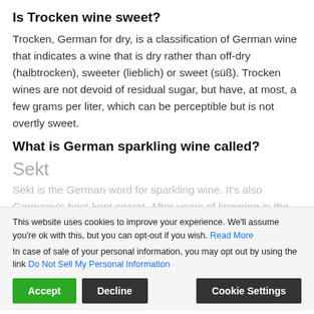Is Trocken wine sweet?
Trocken, German for dry, is a classification of German wine that indicates a wine that is dry rather than off-dry (halbtrocken), sweeter (lieblich) or sweet (süß). Trocken wines are not devoid of residual sugar, but have, at most, a few grams per liter, which can be perceptible but is not overtly sweet.
What is German sparkling wine called?
Sekt
Sekt is the German word for sparkling wine. It's also Germany's best-kept secret. After years of lingering in the doldrums, a German fizz revolution is in full swing and making its way to the U.S.
This website uses cookies to improve your experience. We'll assume you're ok with this, but you can opt-out if you wish. Read More
In case of sale of your personal information, you may opt out by using the link Do Not Sell My Personal Information
What is the difference between